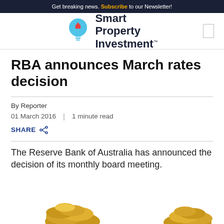Get breaking news. Subscribe to our Newsletter!
[Figure (logo): Smart Property Investment logo with lightbulb icon containing a house]
RBA announces March rates decision
By Reporter
01 March 2016  |  1 minute read
SHARE
The Reserve Bank of Australia has announced the decision of its monthly board meeting.
[Figure (photo): Gold coins partially visible at bottom of page]